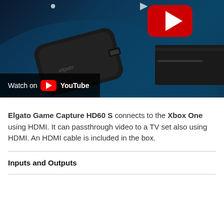[Figure (screenshot): YouTube video thumbnail showing Elgato Game Capture HD60 S device and Xbox One with a YouTube play button overlay and 'Watch on YouTube' label at bottom left]
Elgato Game Capture HD60 S connects to the Xbox One using HDMI.  It can passthrough video to a TV set also using HDMI.  An HDMI cable is included in the box.
Inputs and Outputs